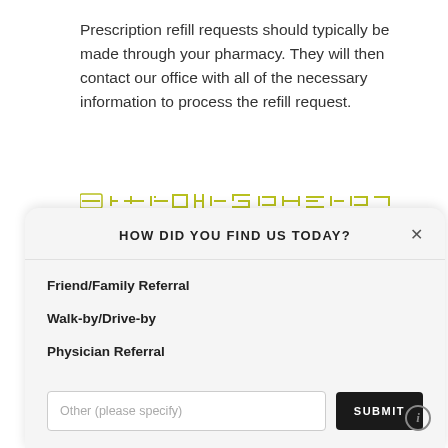Prescription refill requests should typically be made through your pharmacy. They will then contact our office with all of the necessary information to process the refill request.
[Figure (screenshot): Partial navigation bar with yellow/olive colored tab icons, partially visible]
HOW DID YOU FIND US TODAY?
Friend/Family Referral
Walk-by/Drive-by
Physician Referral
Other (please specify) [input field] SUBMIT